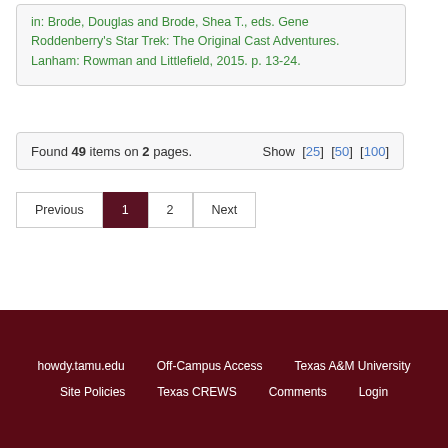in: Brode, Douglas and Brode, Shea T., eds. Gene Roddenberry's Star Trek: The Original Cast Adventures. Lanham: Rowman and Littlefield, 2015. p. 13-24.
Found 49 items on 2 pages. Show [25] [50] [100]
Previous 1 2 Next
howdy.tamu.edu  Off-Campus Access  Texas A&M University  Site Policies  Texas CREWS  Comments  Login